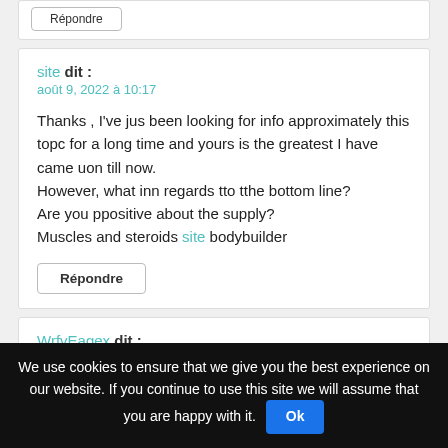site dit : août 9, 2022 à 10:17
Thanks , I've jus been looking for info approximately this topc for a long time and yours is the greatest I have came uon till now. However, what inn regards tto tthe bottom line?
Are you ppositive about the supply?
Muscles and steroids site bodybuilder
WrfvEagex dit : août 10, 2022 à 2:56
cheap viagra pills from india sildenafil medication sildenafil 20 coupon
We use cookies to ensure that we give you the best experience on our website. If you continue to use this site we will assume that you are happy with it. Ok